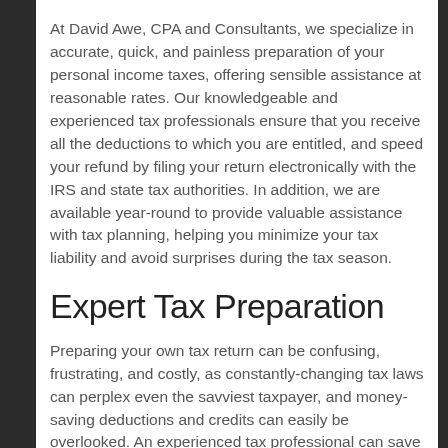At David Awe, CPA and Consultants, we specialize in accurate, quick, and painless preparation of your personal income taxes, offering sensible assistance at reasonable rates. Our knowledgeable and experienced tax professionals ensure that you receive all the deductions to which you are entitled, and speed your refund by filing your return electronically with the IRS and state tax authorities. In addition, we are available year-round to provide valuable assistance with tax planning, helping you minimize your tax liability and avoid surprises during the tax season.
Expert Tax Preparation
Preparing your own tax return can be confusing, frustrating, and costly, as constantly-changing tax laws can perplex even the savviest taxpayer, and money-saving deductions and credits can easily be overlooked. An experienced tax professional can save time, stress, and money…that's why a study released by the US government last year revealed that most taxpayers feel they benefit from using a professional tax preparer. At David Awe, CPA and Consultants, our tax experts put their knowledge and experience to work for you -